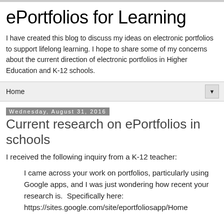ePortfolios for Learning
I have created this blog to discuss my ideas on electronic portfolios to support lifelong learning. I hope to share some of my concerns about the current direction of electronic portfolios in Higher Education and K-12 schools.
Home
Wednesday, August 31, 2016
Current research on ePortfolios in schools
I received the following inquiry from a K-12 teacher:
I came across your work on portfolios, particularly using Google apps, and I was just wondering how recent your research is.  Specifically here: https://sites.google.com/site/eportfoliosapp/Home